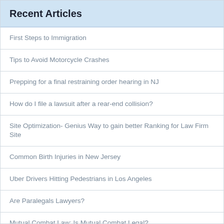Recent Articles
First Steps to Immigration
Tips to Avoid Motorcycle Crashes
Prepping for a final restraining order hearing in NJ
How do I file a lawsuit after a rear-end collision?
Site Optimization- Genius Way to gain better Ranking for Law Firm Site
Common Birth Injuries in New Jersey
Uber Drivers Hitting Pedestrians in Los Angeles
Are Paralegals Lawyers?
Mutual Combat Law: Is Mutual Combat Legal?
Common Concerns After A Car Accident
Things You Should Know About Injury Law